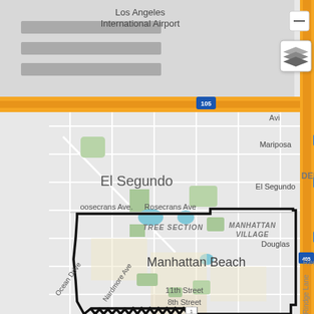[Figure (map): Google Maps view showing Los Angeles area including Los Angeles International Airport at top, El Segundo neighborhood in the middle, and Manhattan Beach at the bottom. A thick black boundary polygon outlines Manhattan Beach city limits. Visible street labels include Rosecrans Ave, Ocean Drive, Nardmore Ave, 11th Street, 8th Street, Rindge Lane. Area labels include Tree Section, Manhattan Village, Manhattan Beach, El Segundo, Mariposa, Douglas. Interstate 105 shown as orange highway at top. Interstate 405 shown at right edge. Ocean/beach shown in teal-blue on the left side.]